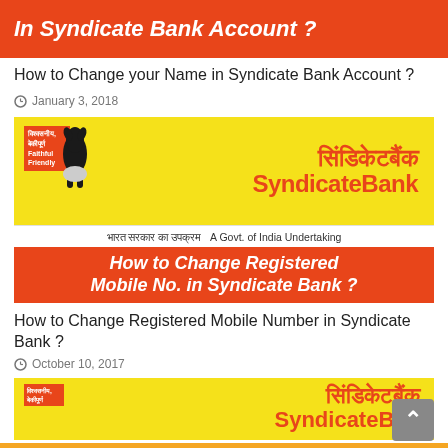[Figure (illustration): Orange banner with white bold italic text: In Syndicate Bank Account ?]
How to Change your Name in Syndicate Bank Account ?
January 3, 2018
[Figure (logo): Syndicate Bank logo: yellow background with dog illustration, Hindi script 'सिंडिकेटबैंक', English 'SyndicateBank', orange banner below saying 'How to Change Registered Mobile No. in Syndicate Bank ?']
How to Change Registered Mobile Number in Syndicate Bank ?
October 10, 2017
[Figure (logo): Partial Syndicate Bank logo at bottom: yellow background with dog image and Hindi/English text partially visible]